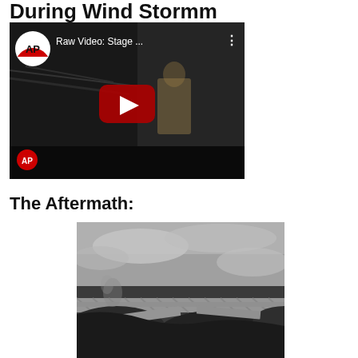During Wind Stormm
[Figure (screenshot): AP YouTube video thumbnail showing 'Raw Video: Stage ...' with play button overlay and dark scene with person in background]
The Aftermath:
[Figure (photo): Photograph showing collapsed stage structure debris with metal truss beams on the ground under a cloudy sky — aftermath of stage collapse during wind storm]